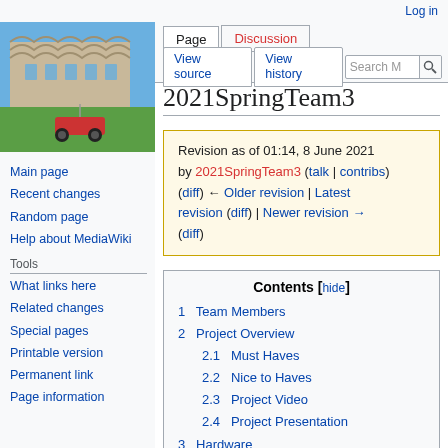Log in
[Figure (photo): Photo of a university library building with wavy concrete roof and an RC car on grass in the foreground]
Main page
Recent changes
Random page
Help about MediaWiki
Tools
What links here
Related changes
Special pages
Printable version
Permanent link
Page information
2021SpringTeam3
Revision as of 01:14, 8 June 2021 by 2021SpringTeam3 (talk | contribs) (diff) ← Older revision | Latest revision (diff) | Newer revision → (diff)
| # | Contents | links |
| --- | --- | --- |
| 1 | Team Members |  |
| 2 | Project Overview |  |
| 2.1 | Must Haves |  |
| 2.2 | Nice to Haves |  |
| 2.3 | Project Video |  |
| 2.4 | Project Presentation |  |
| 3 | Hardware |  |